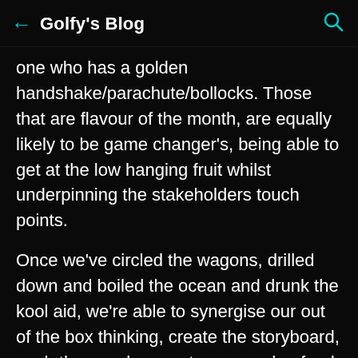← Golfy's Blog 🔍
one who has a golden handshake/parachute/bollocks. Those that are flavour of the month, are equally likely to be game changer's, being able to get at the low hanging fruit whilst underpinning the stakeholders touch points.
Once we've circled the wagons, drilled down and boiled the ocean and drunk the kool aid, we're able to synergise our out of the box thinking, create the storyboard, push the envelope, eat our own dog food and ultimately ensure that